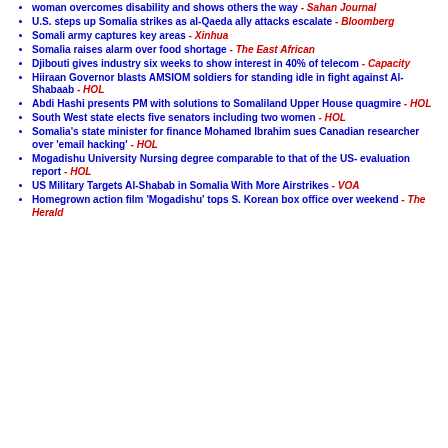woman overcomes disability and shows others the way - Sahan Journal
U.S. steps up Somalia strikes as al-Qaeda ally attacks escalate - Bloomberg
Somali army captures key areas - Xinhua
Somalia raises alarm over food shortage - The East African
Djibouti gives industry six weeks to show interest in 40% of telecom - Capacity
Hiiraan Governor blasts AMSIOM soldiers for standing idle in fight against Al-Shabaab - HOL
Abdi Hashi presents PM with solutions to Somaliland Upper House quagmire - HOL
South West state elects five senators including two women - HOL
Somalia's state minister for finance Mohamed Ibrahim sues Canadian researcher over 'email hacking' - HOL
Mogadishu University Nursing degree comparable to that of the US- evaluation report - HOL
US Military Targets Al-Shabab in Somalia With More Airstrikes - VOA
Homegrown action film 'Mogadishu' tops S. Korean box office over weekend - The Herald